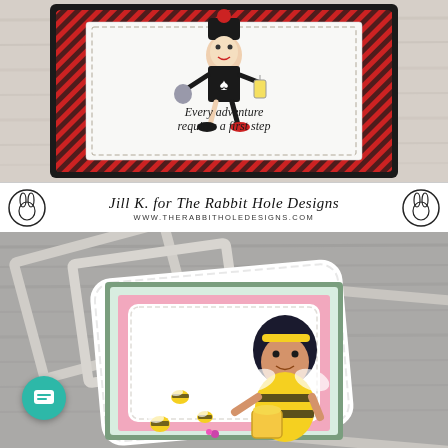[Figure (photo): A handmade greeting card with a postage stamp style design. Black scalloped/perforated outer border, red and black diagonal striped inner border, white center with an illustrated clown/jester figure carrying a lantern, with the sentiment text 'Every adventure requires a first step'. Background is a light wood grain surface.]
[Figure (logo): Banner with two rabbit hole logo icons (circles with rabbit silhouettes) on either side of the text 'Jill K. for The Rabbit Hole Designs' in script font and 'WWW.THERABBITHOLEDESIGNS.COM' in uppercase sans-serif below.]
[Figure (photo): A handmade greeting card featuring a bee-themed design. Layered card with green floral patterned paper, polka dot paper, pink layer, white scalloped layer. A cartoon girl with dark hair wearing a bee costume holds a honey jar, surrounded by illustrated bees. Multiple decorative die-cut frames arranged overlapping on a gray wood grain surface. A teal chat/message button icon is in the lower left.]